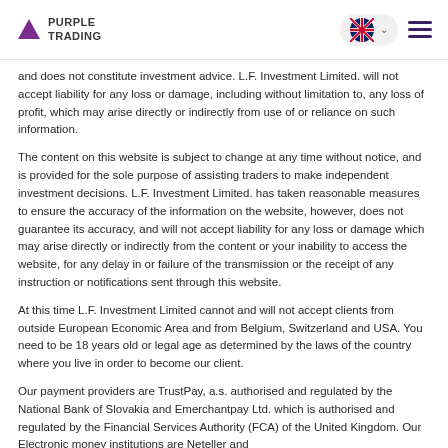PURPLE TRADING
and does not constitute investment advice. L.F. Investment Limited. will not accept liability for any loss or damage, including without limitation to, any loss of profit, which may arise directly or indirectly from use of or reliance on such information.
The content on this website is subject to change at any time without notice, and is provided for the sole purpose of assisting traders to make independent investment decisions. L.F. Investment Limited. has taken reasonable measures to ensure the accuracy of the information on the website, however, does not guarantee its accuracy, and will not accept liability for any loss or damage which may arise directly or indirectly from the content or your inability to access the website, for any delay in or failure of the transmission or the receipt of any instruction or notifications sent through this website.
At this time L.F. Investment Limited cannot and will not accept clients from outside European Economic Area and from Belgium, Switzerland and USA. You need to be 18 years old or legal age as determined by the laws of the country where you live in order to become our client.
Our payment providers are TrustPay, a.s. authorised and regulated by the National Bank of Slovakia and Emerchantpay Ltd. which is authorised and regulated by the Financial Services Authority (FCA) of the United Kingdom. Our Electronic money institutions are Neteller and